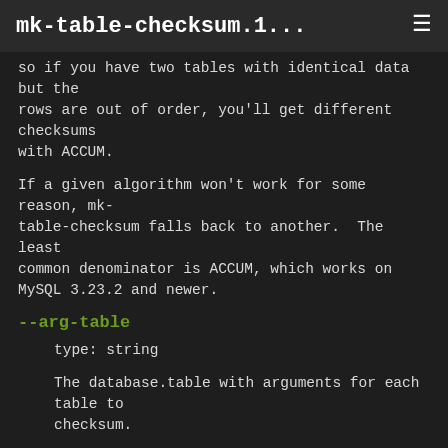mk-table-checksum.1...
so if you have two tables with identical data but the rows are out of order, you'll get different checksums with ACCUM.
If a given algorithm won't work for some reason, mk-table-checksum falls back to another. The least common denominator is ACCUM, which works on MySQL 3.23.2 and newer.
--arg-table
type: string
The database.table with arguments for each table to checksum.
This table may be named anything you wish. It must contain at least the following columns:
CREATE TABLE checksum_args (
   db            char(64)      NOT NULL,
   tbl           char(64)      NOT NULL,
   -- other columns as desired
   PRIMARY KEY (db, tbl)